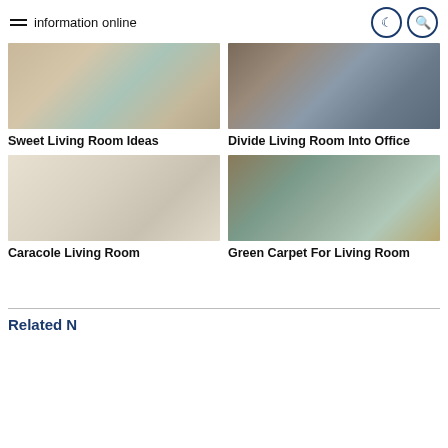information online
[Figure (photo): Living room with sofa and decorative pillows in neutral and teal tones]
Sweet Living Room Ideas
[Figure (photo): Home office with dark wood desk, laptop, and framed pictures on the wall]
Divide Living Room Into Office
[Figure (photo): Elegant living room with ornate white sofas and coffee table]
Caracole Living Room
[Figure (photo): Living room with green carpet, cream sofa, floor cushions and lamp]
Green Carpet For Living Room
Related N…